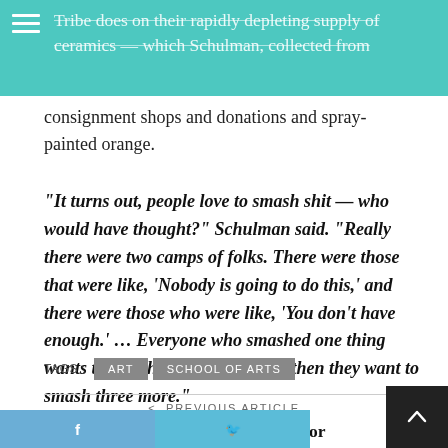Tribe does on their rapidly depleting supply of ceramics — which Schulman, collected from consignment shops and donations and spray-painted orange.
consignment shops and donations and spray-painted orange.
“It turns out, people love to smash shit — who would have thought?” Schulman said. “Really there were two camps of folks. There were those that were like, ‘Nobody is going to do this,’ and there were those who were like, ‘You don’t have enough.’ … Everyone who smashed one thing wants to smash three things, and then they want to smash three more.”
TAGS : ART SCHOOL OF ARTS
PREVIOUS ARTICLE
Religion Director Maureen O’Connor Rovegno to ‘Moments of Grace’ at CWC